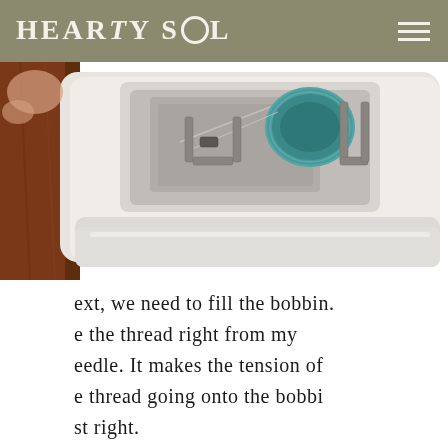HEARTY SOL
[Figure (photo): Close-up photo of a sewing machine bobbin area showing the bobbin case with teal/turquoise thread spool visible, white plastic machine body, on a wooden table surface]
ext, we need to fill the bobbin. e the thread right from my eedle. It makes the tension of e thread going onto the bobbi st right.